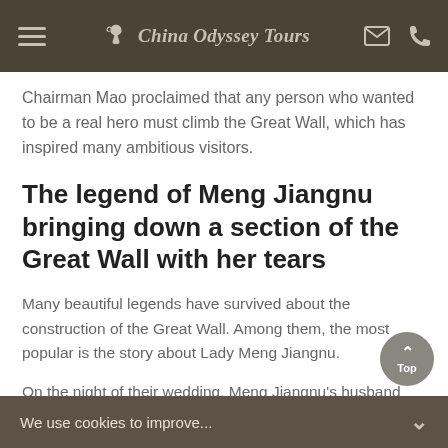China Odyssey Tours
Chairman Mao proclaimed that any person who wanted to be a real hero must climb the Great Wall, which has inspired many ambitious visitors.
The legend of Meng Jiangnu bringing down a section of the Great Wall with her tears
Many beautiful legends have survived about the construction of the Great Wall. Among them, the most popular is the story about Lady Meng Jiangnu.
On the night of their wedding, Meng Jiangnu's husband was conscribed to work on the Great Wall by the Qin
We use cookies to improve...